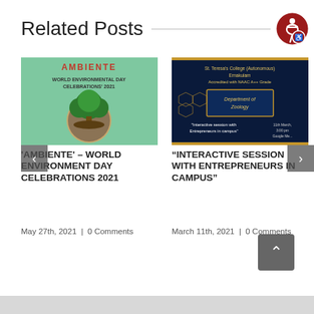Related Posts
[Figure (photo): World Environmental Day Celebrations 2021 poster with green tree on globe]
[Figure (photo): Interactive Session with Entrepreneurs in Campus event poster from St. Teresa's College, Ernakulam]
'AMBIENTE' - WORLD ENVIRONMENT DAY CELEBRATIONS 2021
May 27th, 2021  |  0 Comments
“INTERACTIVE SESSION WITH ENTREPRENEURS IN CAMPUS”
March 11th, 2021  |  0 Comments